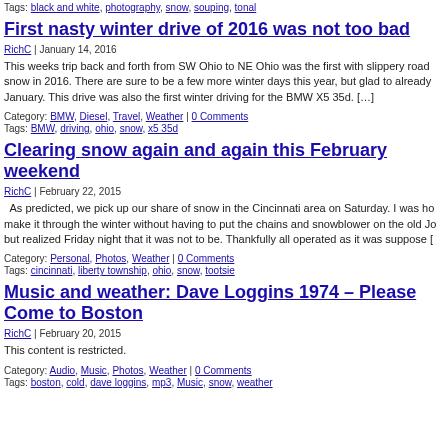Tags: black and white, photography, snow, souping, tonal
First nasty winter drive of 2016 was not too bad
RichC | January 14, 2016
This weeks trip back and forth from SW Ohio to NE Ohio was the first with slippery road snow in 2016. There are sure to be a few more winter days this year, but glad to already January. This drive was also the first winter driving for the BMW X5 35d. [...]
Category: BMW, Diesel, Travel, Weather | 0 Comments
Tags: BMW, driving, ohio, snow, x5 35d
Clearing snow again and again this February weekend
RichC | February 22, 2015
As predicted, we pick up our share of snow in the Cincinnati area on Saturday. I was ho make it through the winter without having to put the chains and snowblower on the old Jo but realized Friday night that it was not to be. Thankfully all operated as it was suppose [
Category: Personal, Photos, Weather | 0 Comments
Tags: cincinnati, liberty township, ohio, snow, tootsie
Music and weather: Dave Loggins 1974 – Please Come to Boston
RichC | February 20, 2015
This content is restricted.
Category: Audio, Music, Photos, Weather | 0 Comments
Tags: boston, cold, dave loggins, mp3, Music, snow, weather